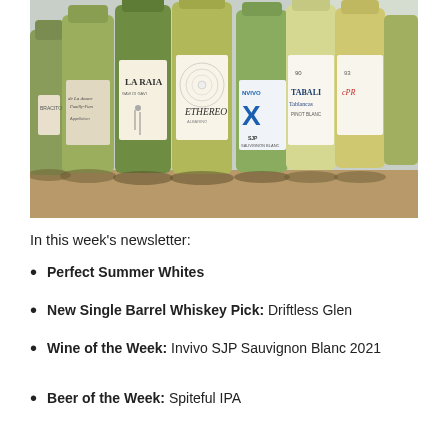[Figure (photo): Multiple bottles of white wine lined up on a wooden surface, including labels LA RAIA, ETHEREO, de La douce Pouilly-Fume, INVIVO X SJP, TABALI Tablancas, and others, photographed in a bright indoor setting.]
In this week’s newsletter:
Perfect Summer Whites
New Single Barrel Whiskey Pick: Driftless Glen
Wine of the Week: Invivo SJP Sauvignon Blanc 2021
Beer of the Week: Spiteful IPA